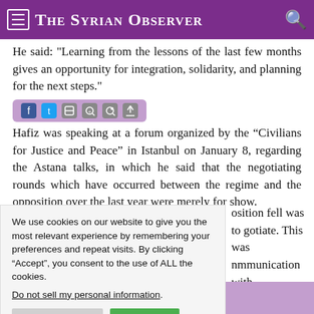The Syrian Observer
He said: "Learning from the lessons of the last few months gives an opportunity for integration, solidarity, and planning for the next steps."
Hafiz was speaking at a forum organized by the “Civilians for Justice and Peace” in Istanbul on January 8, regarding the Astana talks, in which he said that the negotiating rounds which have occurred between the regime and the opposition over the last year were merely for show.
osition fell was to gotiate. This was nmmunication with
We use cookies on our website to give you the most relevant experience by remembering your preferences and repeat visits. By clicking “Accept”, you consent to the use of ALL the cookies.
Do not sell my personal information.
essions and that he opposition in ed it as it should Russian alliance
Values after Aleppo